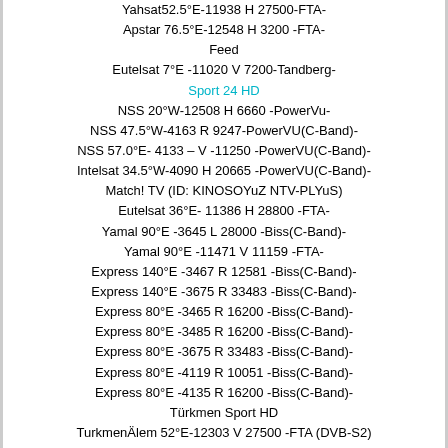Yahsat52.5°E-11938 H 27500-FTA-
Apstar 76.5°E-12548 H 3200 -FTA-
Feed
Eutelsat 7°E -11020 V 7200-Tandberg-
Sport 24 HD
NSS 20°W-12508 H 6660 -PowerVu-
NSS 47.5°W-4163 R 9247-PowerVU(C-Band)-
NSS 57.0°E- 4133 – V -11250 -PowerVU(C-Band)-
Intelsat 34.5°W-4090 H 20665 -PowerVU(C-Band)-
Match! TV (ID: KINOSOYuZ NTV-PLYuS)
Eutelsat 36°E- 11386 H 28800 -FTA-
Yamal 90°E -3645 L 28000 -Biss(C-Band)-
Yamal 90°E -11471 V 11159 -FTA-
Express 140°E -3467 R 12581 -Biss(C-Band)-
Express 140°E -3675 R 33483 -Biss(C-Band)-
Express 80°E -3465 R 16200 -Biss(C-Band)-
Express 80°E -3485 R 16200 -Biss(C-Band)-
Express 80°E -3675 R 33483 -Biss(C-Band)-
Express 80°E -4119 R 10051 -Biss(C-Band)-
Express 80°E -4135 R 16200 -Biss(C-Band)-
Türkmen Sport HD
TurkmenÄlem 52°E-12303 V 27500 -FTA (DVB-S2)
ESPN Brasil HD
SES-6 40.5°W-3980 L 21600 -PowerVU(C-Band)-
Swansea City-Manchester City 14:00
Sport 24 HD
NSS 20°W-12508 H 6660 -PowerVu-
NSS 47.5°W-4163 R 9247-PowerVU(C-Band)-
NSS 57.0°E- 4133 – V -11250 -PowerVU(C-Band)-
Intelsat 34.5°W-4090 H 20665 -PowerVU(C-Band)-
ESPN INET HD
SES-6 40.5°W-3980 L 21600 -PowerVU(C-Band)-